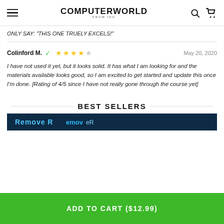COMPUTERWORLD FROM IDG
ONLY SAY: “THIS ONE TRUELY EXCELS!”
Colinford M. ✓ ★★★★☆ May 20, 2020
I have not used it yet, but it looks solid. It has what I am looking for and the materials available looks good, so I am excited to get started and update this once I’m done. [Rating of 4/5 since I have not really gone through the course yet]
BEST SELLERS
[Figure (screenshot): Partial product image strip with blue/teal background showing partial text 'Remove [R...]']
ADD TO CART ($12.99)